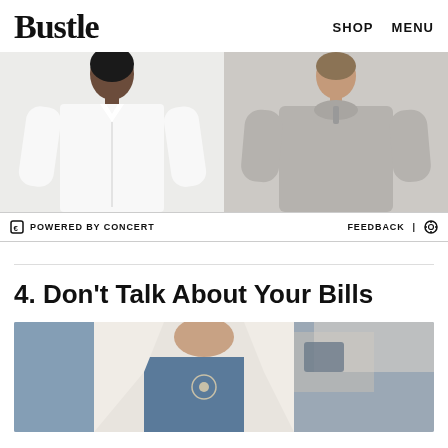Bustle   SHOP   MENU
[Figure (photo): Advertisement banner: left half shows a Black woman in a white oversized button-down shirt; right half shows a woman in a gray zip-up pullover. Fashion clothing advertisement.]
POWERED BY CONCERT   FEEDBACK
4. Don't Talk About Your Bills
[Figure (photo): Partial photo showing a person in a white cardigan/coat with a blue top and necklace, in what appears to be an office or medical setting with a phone visible in the background.]